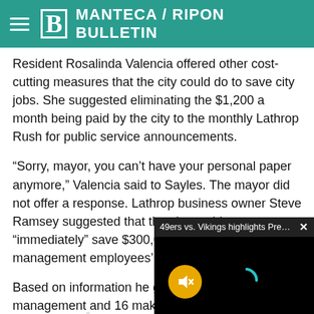Manteca / Ripon Bulletin
Resident Rosalinda Valencia offered other cost-cutting measures that the city could do to save city jobs. She suggested eliminating the $1,200 a month being paid by the city to the monthly Lathrop Rush for public service announcements.
“Sorry, mayor, you can’t have your personal paper anymore,” Valencia said to Sayles. The mayor did not offer a response. Lathrop business owner Steve Ramsey suggested that the city could “immediately” save $300,000 just by cutting top management employees’ salaries by 10 percent.
Based on information he g[ot], there are 10 management[ employees making] and 16 making $8,500 a m[onth]
“I know some of these jobs[ are worth it but taking 10] percent off the top salarie[s]…”
[Figure (screenshot): Video overlay popup showing '49ers vs. Vikings highlights Preseason ...' with a close button (×), a dark video area with a yellow mute button and a teal loading arc on a black background.]